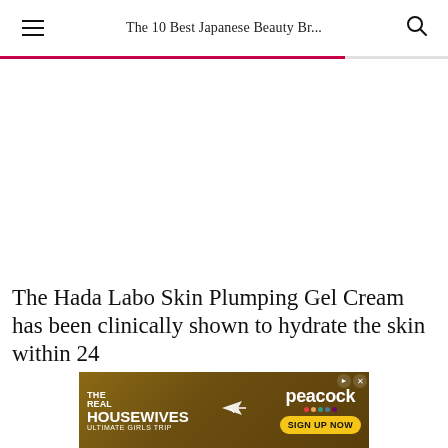The 10 Best Japanese Beauty Br...
The Hada Labo Skin Plumping Gel Cream has been clinically shown to hydrate the skin within 24
[Figure (infographic): Advertisement banner for The Real Housewives Ultimate Girls Trip on Peacock with Sign Up Now button]